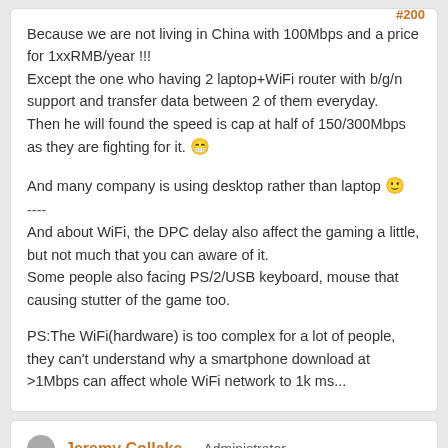Because we are not living in China with 100Mbps and a price for 1xxRMB/year !!!
Except the one who having 2 laptop+WiFi router with b/g/n support and transfer data between 2 of them everyday.
Then he will found the speed is cap at half of 150/300Mbps as they are fighting for it. 😁

And many company is using desktop rather than laptop 🙂
----
And about WiFi, the DPC delay also affect the gaming a little, but not much that you can aware of it.
Some people also facing PS/2/USB keyboard, mouse that causing stutter of the game too.

PS:The WiFi(hardware) is too complex for a lot of people, they can't understand why a smartphone download at >1Mbps can affect whole WiFi network to 1k ms...
Jeremy Collake · Administrator